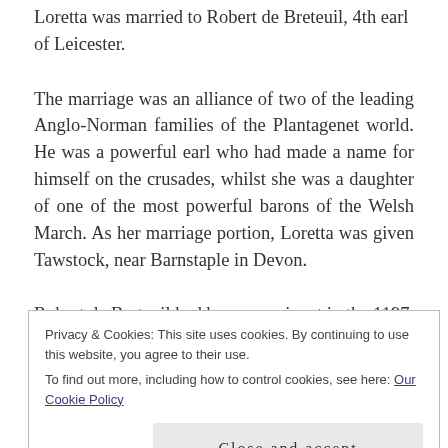Loretta was married to Robert de Breteuil, 4th earl of Leicester.
The marriage was an alliance of two of the leading Anglo-Norman families of the Plantagenet world. He was a powerful earl who had made a name for himself on the crusades, whilst she was a daughter of one of the most powerful barons of the Welsh March. As her marriage portion, Loretta was given Tawstock, near Barnstaple in Devon.
Robert de Breteuil had been prominent in the 1197 and 1199...
Privacy & Cookies: This site uses cookies. By continuing to use this website, you agree to their use.
To find out more, including how to control cookies, see here: Our Cookie Policy
Close and accept
succession, acting as steward at his coronation on 27 May